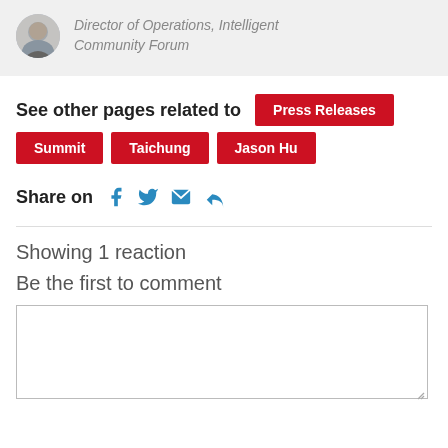[Figure (photo): Profile photo of a smiling man in a dark shirt, with job title 'Director of Operations, Intelligent Community Forum' in italic gray text]
Director of Operations, Intelligent Community Forum
See other pages related to
Press Releases
Summit
Taichung
Jason Hu
Share on
Showing 1 reaction
Be the first to comment